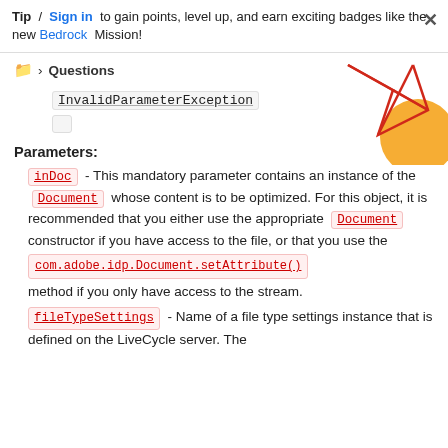Tip / Sign in to gain points, level up, and earn exciting badges like the new Bedrock Mission!
Questions
InvalidParameterException
Parameters:
inDoc - This mandatory parameter contains an instance of the Document whose content is to be optimized. For this object, it is recommended that you either use the appropriate Document constructor if you have access to the file, or that you use the com.adobe.idp.Document.setAttribute() method if you only have access to the stream.
fileTypeSettings - Name of a file type settings instance that is defined on the LiveCycle server. The